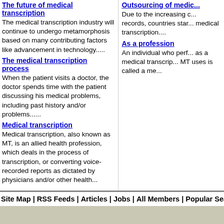The future of medical transcription
The medical transcription industry will continue to undergo metamorphosis based on many contributing factors like advancement in technology.....
Outsourcing of medi...
Due to the increasing c... records, countries star... medical transcription....
The medical transcription process
When the patient visits a doctor, the doctor spends time with the patient discussing his medical problems, including past history and/or problems......
As a profession
An individual who perf... as a medical transcrip... MT uses is called a me...
Medical transcription
Medical transcription, also known as MT, is an allied health profession, which deals in the process of transcription, or converting voice-recorded reports as dictated by physicians and/or other health...
Site Map | RSS Feeds | Articles | Jobs | All Members | Popular Searches | Popul...